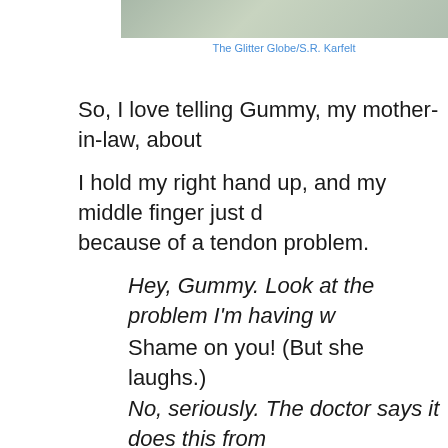[Figure (photo): Partial image of a textured greenish-gray background at the top of the page]
The Glitter Globe/S.R. Karfelt
So, I love telling Gummy, my mother-in-law, about
I hold my right hand up, and my middle finger just d because of a tendon problem.
Hey, Gummy. Look at the problem I'm having w
Shame on you! (But she laughs.)
No, seriously. The doctor says it does this from and down.)
I'll bet it does! You're awful! (She holds her midd
We sit side by side in the memory care unit of assi each other our middle fingers and laughing.
Since Gummy has such advanced dementia, with a memory recall anymore, this joke never gets old fo gotten tired of it either.